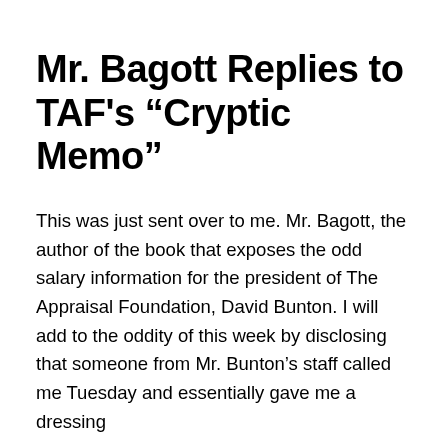Mr. Bagott Replies to TAF's “Cryptic Memo”
This was just sent over to me. Mr. Bagott, the author of the book that exposes the odd salary information for the president of The Appraisal Foundation, David Bunton. I will add to the oddity of this week by disclosing that someone from Mr. Bunton’s staff called me Tuesday and essentially gave me a dressing
Continue reading →